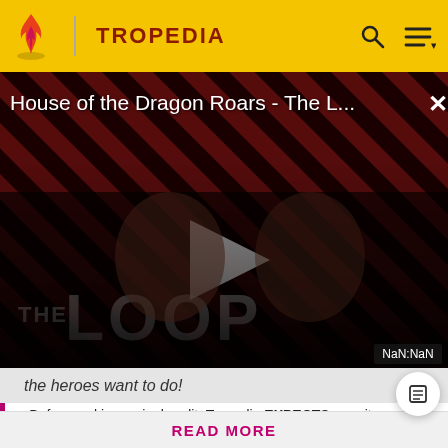TROPEDIA
[Figure (screenshot): Video player showing 'House of the Dragon Roars - The L...' with a play button overlay, diagonal red/black striped background, two figures visible, 'THE LOOP' watermark text, and a NaN:NaN timer in the bottom right.]
the heroes want to do!
Before making a single edit, Tropedia EXPECTS our site policy and manual of style to be followed. Failure to do so may
READ MORE